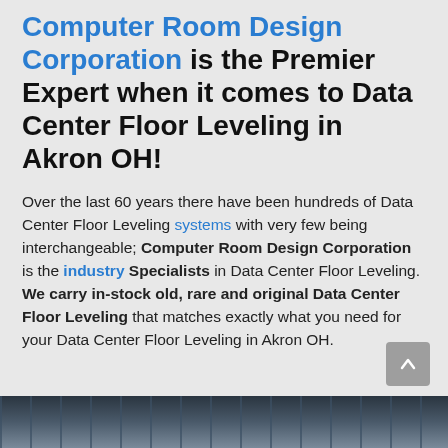Computer Room Design Corporation is the Premier Expert when it comes to Data Center Floor Leveling in Akron OH!
Over the last 60 years there have been hundreds of Data Center Floor Leveling systems with very few being interchangeable; Computer Room Design Corporation is the industry Specialists in Data Center Floor Leveling. We carry in-stock old, rare and original Data Center Floor Leveling that matches exactly what you need for your Data Center Floor Leveling in Akron OH.
[Figure (photo): Bottom strip showing a data center or industrial ceiling/infrastructure photo, partially visible at bottom of page]